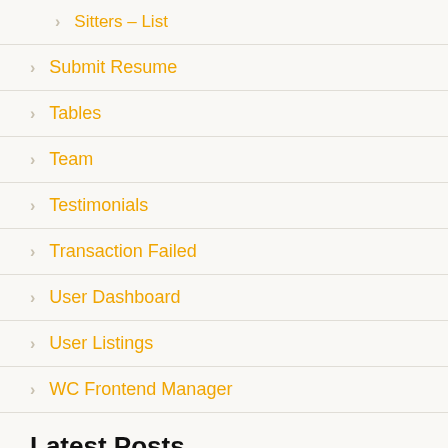Sitters – List
Submit Resume
Tables
Team
Testimonials
Transaction Failed
User Dashboard
User Listings
WC Frontend Manager
Latest Posts